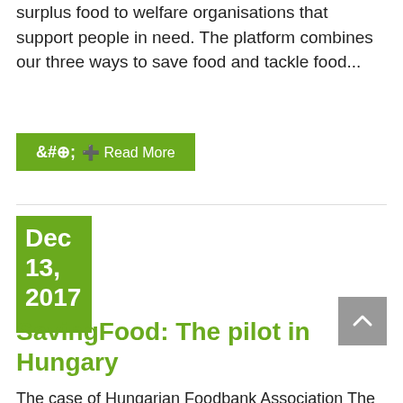surplus food to welfare organisations that support people in need. The platform combines our three ways to save food and tackle food...
⊕ Read More
Dec 13, 2017
SavingFood: The pilot in Hungary
The case of Hungarian Foodbank Association The main